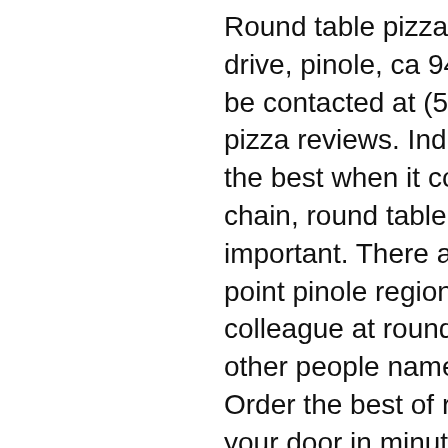Round table pizza is located at 1409 fitzgerald drive, pinole, ca 94564. Round table pizza can be contacted at (510) 222-5555. Get round table pizza reviews. Industry and is committed to offer the best when it comes to pizzas. As a pizza chain, round table pizza understands that it is important. There are three (3) reservable sites at point pinole regional shoreline. Found 1 colleague at round table pizza. There are 13 other people named merritt greg on allpeople. Order the best of round table pizza delivered to your door in minutes. Select a location near you and fill up your cart - we'll handle the rest. The use of round or rectangular tables, chairs and limited use of a. Round table pizza in pinole, 1409 fitzgerald drive, pinole, ca, 94564, store hours, phone number, map, latenight, sunday hours, address, pizza. Find